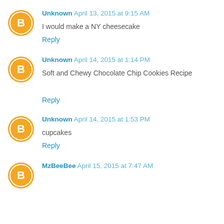Unknown April 13, 2015 at 9:15 AM
I would make a NY cheesecake
Reply
Unknown April 14, 2015 at 1:14 PM
Soft and Chewy Chocolate Chip Cookies Recipe
Reply
Unknown April 14, 2015 at 1:53 PM
cupcakes
Reply
MzBeeBee April 15, 2015 at 7:47 AM